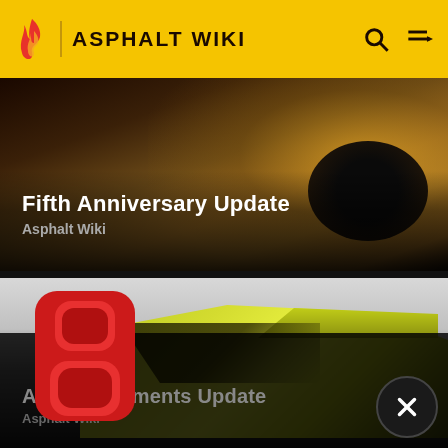ASPHALT WIKI
[Figure (screenshot): Card thumbnail showing a yellow sports car (McLaren) on dark background with text 'Fifth Anniversary Update' and 'Asphalt Wiki']
Fifth Anniversary Update
Asphalt Wiki
[Figure (screenshot): Card thumbnail showing a yellow-green race car with Asphalt 8 logo, text 'Asphalt Moments Update' and 'Asphalt Wiki', with a dark overlay and close button]
Asphalt Moments Update
Asphalt Wiki